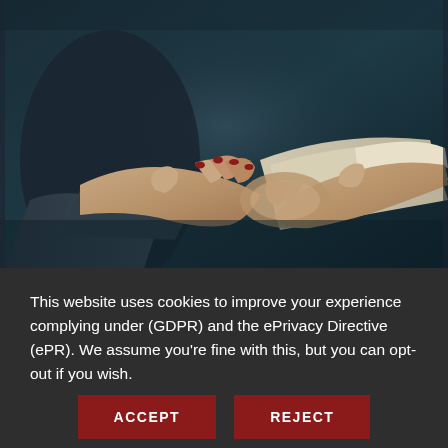[Figure (photo): A handshake between two people against a dark teal/blue background. One person appears to have red nail polish. The image has a dark, moody tone with teal and blue hues.]
This website uses cookies to improve your experience complying under (GDPR) and the ePrivacy Directive (ePR). We assume you're fine with this, but you can opt-out if you wish.
ACCEPT
REJECT